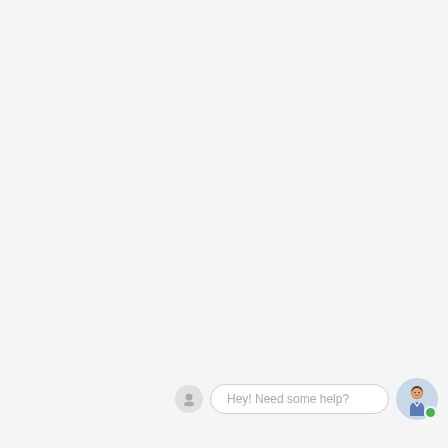[Figure (screenshot): Chat widget bar at the bottom of a nearly blank light gray page. Contains a small circular gray icon on the left, a white rounded input box with placeholder text 'Hey! Need some help?', and a circular avatar icon with a cartoon person illustration and a green online status dot on the right.]